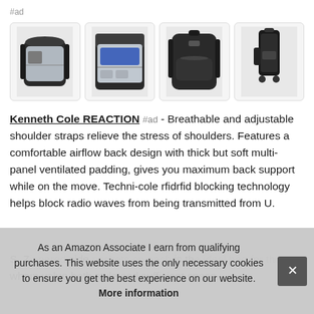#ad
[Figure (photo): Four product images of Kenneth Cole REACTION black backpacks showing front open view, interior compartment view, closed front view, and rear/luggage strap view]
Kenneth Cole REACTION #ad - Breathable and adjustable shoulder straps relieve the stress of shoulders. Features a comfortable airflow back design with thick but soft multi-panel ventilated padding, gives you maximum back support while on the move. Techni-cole rfidrfid blocking technology helps block radio waves from being transmitted from U.
S. Z side is th whom value both style and sufficient space.
As an Amazon Associate I earn from qualifying purchases. This website uses the only necessary cookies to ensure you get the best experience on our website. More information